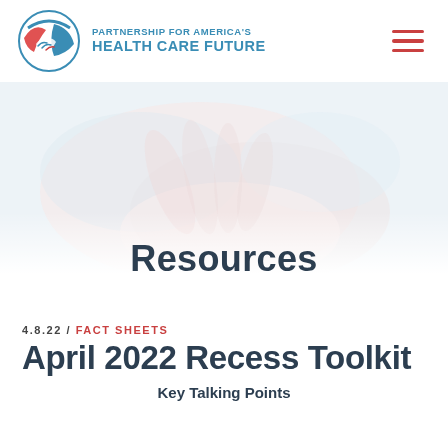[Figure (logo): Partnership for America's Health Care Future logo — circular emblem with handshake in red/blue, beside organization name in teal/blue uppercase text]
[Figure (photo): Faded hero banner image showing hands (soft pinkish-blue tones), very light and washed out background image]
Resources
4.8.22 / FACT SHEETS
April 2022 Recess Toolkit
Key Talking Points